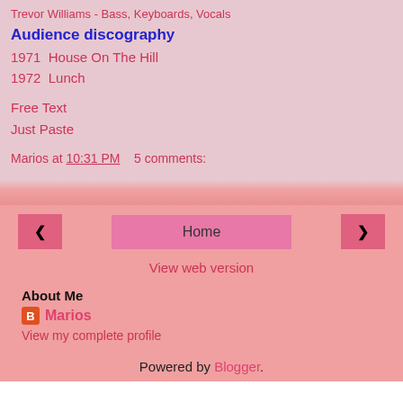Trevor Williams - Bass, Keyboards, Vocals
Audience discography
1971  House On The Hill
1972  Lunch
Free Text
Just Paste
Marios at 10:31 PM    5 comments:
Home
View web version
About Me
Marios
View my complete profile
Powered by Blogger.